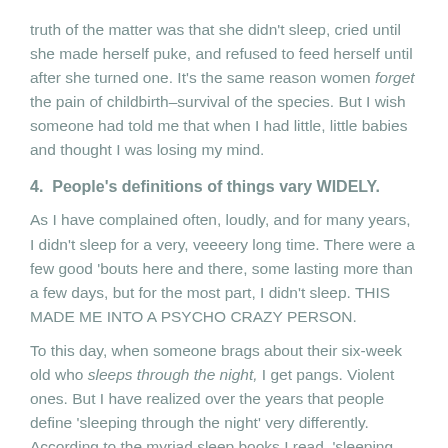truth of the matter was that she didn't sleep, cried until she made herself puke, and refused to feed herself until after she turned one. It's the same reason women forget the pain of childbirth–survival of the species. But I wish someone had told me that when I had little, little babies and thought I was losing my mind.
4.  People's definitions of things vary WIDELY.
As I have complained often, loudly, and for many years, I didn't sleep for a very, veeeery long time. There were a few good 'bouts here and there, some lasting more than a few days, but for the most part, I didn't sleep. THIS MADE ME INTO A PSYCHO CRAZY PERSON.
To this day, when someone brags about their six-week old who sleeps through the night, I get pangs. Violent ones. But I have realized over the years that people define 'sleeping through the night' very differently. According to the myriad sleep books I read, 'sleeping